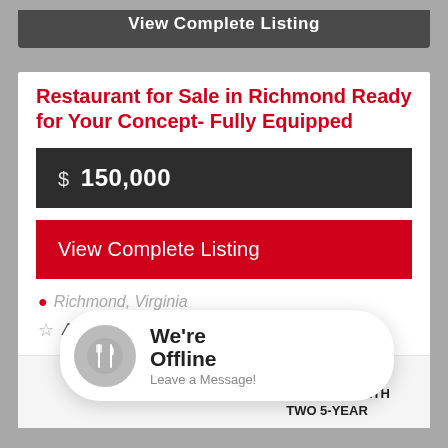[Figure (screenshot): Partially visible dark grey 'View Complete Listing' button at top of page]
Restaurant for Sale in Richmond Ready for Your Concept- Fully Equipped
$ 150,000
View Complete Listing
Richmond, Virginia
Add t
| LISTING | TERM: |
| --- | --- |
| 8957 | EXPIRES 2030 WITH TWO 5-YEAR |
[Figure (illustration): We're Offline chat popup with fork and knife icon. Text reads: We're Offline, Leave a Message!]